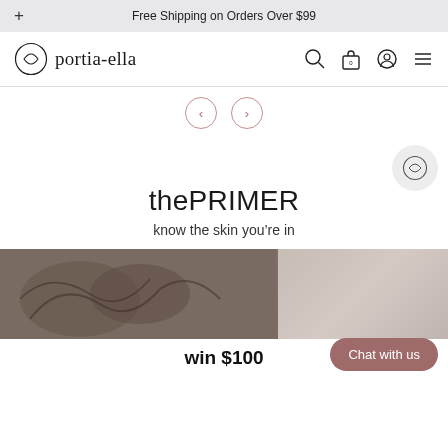Free Shipping on Orders Over $99
[Figure (logo): Portia-ella brand logo with circular leaf icon and brand name 'portia-ella']
[Figure (screenshot): Navigation icons: search, bag with 0, user/account, hamburger menu]
[Figure (other): Carousel navigation arrows: left chevron and right chevron in light rose color]
[Figure (logo): Small portia-ella circular logo watermark]
thePRIMER
know the skin you're in
[Figure (photo): Photo strip showing tattooed arm and hands, product imagery]
win $100
Chat with us